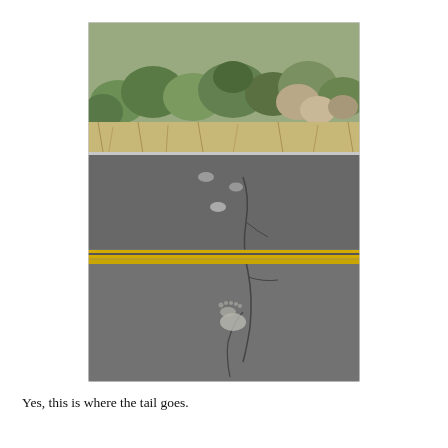[Figure (photo): A photograph of a rural two-lane road taken from a low angle showing the road surface with double yellow center lines and cracks in the asphalt. Animal footprints (likely large, possibly bear or bigfoot-themed) are visible on the road surface in white/light color at several points. The upper portion of the image shows scrubby desert vegetation and rocks at the roadside.]
Yes, this is where the tail goes.